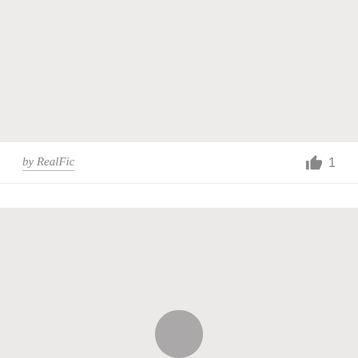[Figure (other): Gray placeholder image block at the top of the page]
by RealFic
1
[Figure (other): Gray placeholder image block at the bottom of the page with a partial user avatar icon visible at the bottom center]